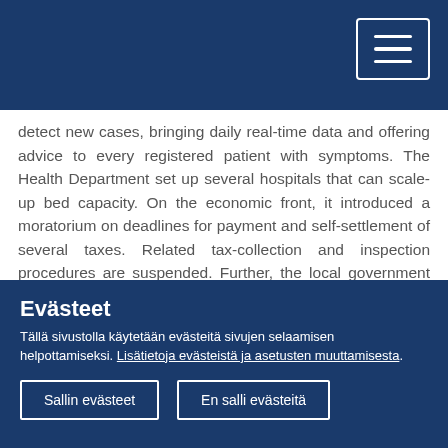[Figure (other): Top navy blue header bar with hamburger menu button in top-right corner]
detect new cases, bringing daily real-time data and offering advice to every registered patient with symptoms. The Health Department set up several hospitals that can scale-up bed capacity. On the economic front, it introduced a moratorium on deadlines for payment and self-settlement of several taxes. Related tax-collection and inspection procedures are suspended. Further, the local government allocated €7.5M to self-employed workers who are economically affected, with a total aid of up to €2,000 for severely-afflicted workers who prove the necessary justification. The Catalonian Government committed to pay wages and insurance policies to workers in companies working for the government, including cleaning
Evästeet
Tällä sivustolla käytetään evästeitä sivujen selaamisen helpottamiseksi. Lisätietoja evästeistä ja asetusten muuttamisesta.
Sallin evästeet | En salli evästeitä